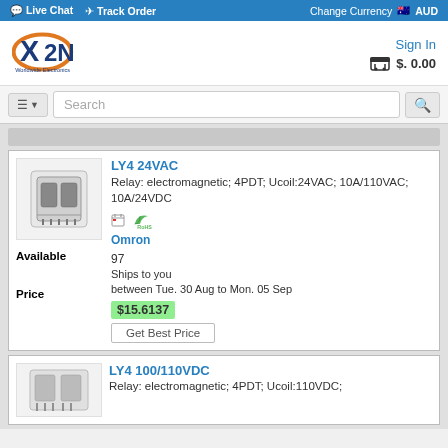Live Chat  Track Order  Change Currency  AUD
[Figure (logo): X2N Worldwide Electronics logo with orange and blue design]
Sign In  $. 0.00
Search
LY4 24VAC
Relay: electromagnetic; 4PDT; Ucoil:24VAC; 10A/110VAC; 10A/24VDC
[Figure (logo): RoHS compliance icon with green leaf]
Omron
Available
97
Ships to you between Tue. 30 Aug to Mon. 05 Sep
Price
$15.6137
Get Best Price
LY4 100/110VDC
Relay: electromagnetic; 4PDT; Ucoil:110VDC;